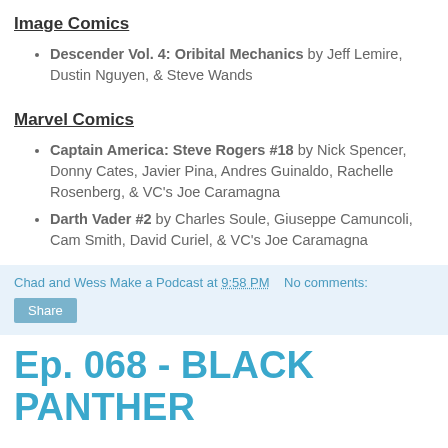Image Comics
Descender Vol. 4: Oribital Mechanics by Jeff Lemire, Dustin Nguyen, & Steve Wands
Marvel Comics
Captain America: Steve Rogers #18 by Nick Spencer, Donny Cates, Javier Pina, Andres Guinaldo, Rachelle Rosenberg, & VC's Joe Caramagna
Darth Vader #2 by Charles Soule, Giuseppe Camuncoli, Cam Smith, David Curiel, & VC's Joe Caramagna
Chad and Wess Make a Podcast at 9:58 PM   No comments:
Ep. 068 - BLACK PANTHER